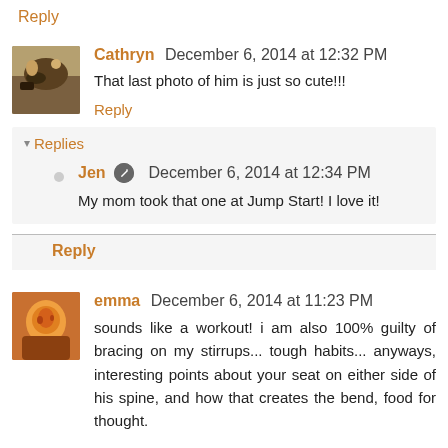Reply
Cathryn  December 6, 2014 at 12:32 PM
That last photo of him is just so cute!!!
Reply
Replies
Jen  December 6, 2014 at 12:34 PM
My mom took that one at Jump Start! I love it!
Reply
emma  December 6, 2014 at 11:23 PM
sounds like a workout! i am also 100% guilty of bracing on my stirrups... tough habits... anyways, interesting points about your seat on either side of his spine, and how that creates the bend, food for thought.